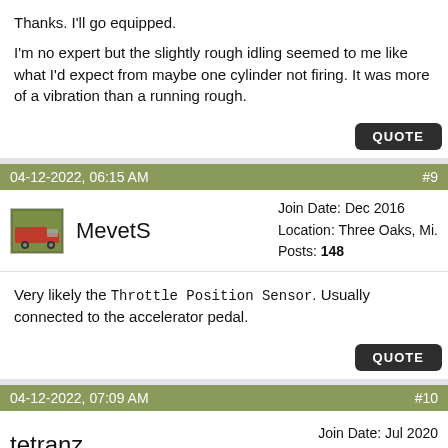Thanks. I'll go equipped.

I'm no expert but the slightly rough idling seemed to me like what I'd expect from maybe one cylinder not firing. It was more of a vibration than a running rough.
QUOTE
04-12-2022, 06:15 AM
#9
MevetS
Join Date: Dec 2016
Location: Three Oaks, Mi.
Posts: 148
Very likely the Throttle Position Sensor. Usually connected to the accelerator pedal.
QUOTE
04-12-2022, 07:09 AM
#10
tetranz
Join Date: Jul 2020
Posts: 678
Quote: